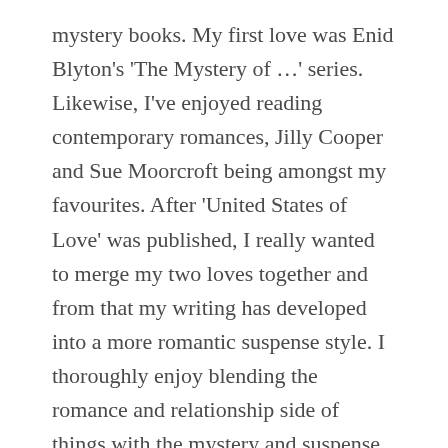mystery books. My first love was Enid Blyton's 'The Mystery of ...' series. Likewise, I've enjoyed reading contemporary romances, Jilly Cooper and Sue Moorcroft being amongst my favourites. After 'United States of Love' was published, I really wanted to merge my two loves together and from that my writing has developed into a more romantic suspense style. I thoroughly enjoy blending the romance and relationship side of things with the mystery and suspense.
Are you a plotter or a punster?
Plotter. As my writing has evolved and brought more and more mystery and suspense into it, my books have been very much plot driven.